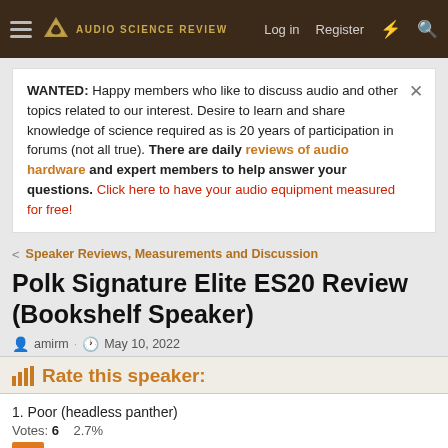Audio Science Review — Log in  Register
WANTED: Happy members who like to discuss audio and other topics related to our interest. Desire to learn and share knowledge of science required as is 20 years of participation in forums (not all true). There are daily reviews of audio hardware and expert members to help answer your questions. Click here to have your audio equipment measured for free!
Speaker Reviews, Measurements and Discussion
Polk Signature Elite ES20 Review (Bookshelf Speaker)
amirm · May 10, 2022
Rate this speaker:
1. Poor (headless panther)
Votes: 6    2.7%